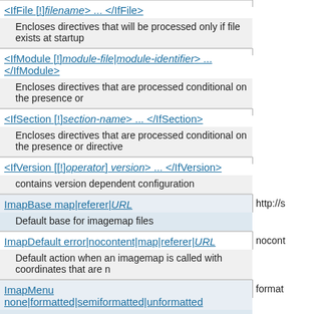| Directive | Default |
| --- | --- |
| <IfFile [!]filename> ... </IfFile> |  |
| Encloses directives that will be processed only if file exists at startup |  |
| <IfModule [!]module-file|module-identifier> ... </IfModule> |  |
| Encloses directives that are processed conditional on the presence or |  |
| <IfSection [!]section-name> ... </IfSection> |  |
| Encloses directives that are processed conditional on the presence or directive |  |
| <IfVersion [[!]operator] version> ... </IfVersion> |  |
| contains version dependent configuration |  |
| ImapBase map|referer|URL | http://s |
| Default base for imagemap files |  |
| ImapDefault error|nocontent|map|referer|URL | nocont |
| Default action when an imagemap is called with coordinates that are n |  |
| ImapMenu none|formatted|semiformatted|unformatted | format |
| Action if no coordinates are given when calling an imagemap |  |
| Include [optional|strict] file-path|directory-path|wildcard |  |
| Includes other configuration files from within the server configuration fi |  |
| IncludeOptional file-path|directory-path|wildcard |  |
| Includes other configuration files from within the server configuration fi |  |
| IndexHeadInsert "markup ..." |  |
| Inserts text in the HEAD section of an index page. |  |
| IndexIgnore file [file] ... | " " |